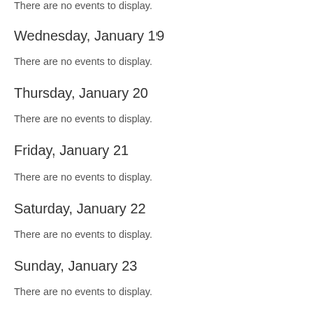There are no events to display.
Wednesday, January 19
There are no events to display.
Thursday, January 20
There are no events to display.
Friday, January 21
There are no events to display.
Saturday, January 22
There are no events to display.
Sunday, January 23
There are no events to display.